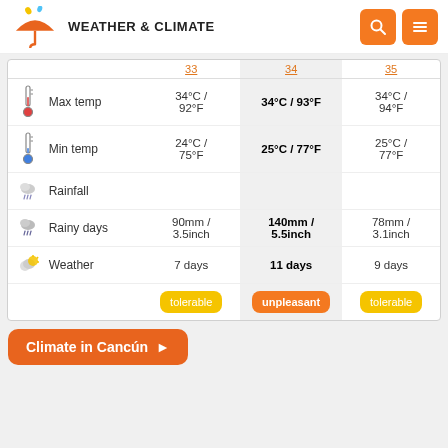WEATHER & CLIMATE
|  |  | col1 | col2 (highlighted) | col3 |
| --- | --- | --- | --- | --- |
| Max temp icon | Max temp | 34°C / 92°F | 34°C / 93°F | 34°C / 94°F |
| Min temp icon | Min temp | 24°C / 75°F | 25°C / 77°F | 25°C / 77°F |
| Rainfall icon | Rainfall |  |  |  |
| Rainy days icon | Rainy days | 90mm / 3.5inch | 140mm / 5.5inch | 78mm / 3.1inch |
| Weather icon | Weather | 7 days | 11 days | 9 days |
|  |  | tolerable | unpleasant | tolerable |
Climate in Cancún ►